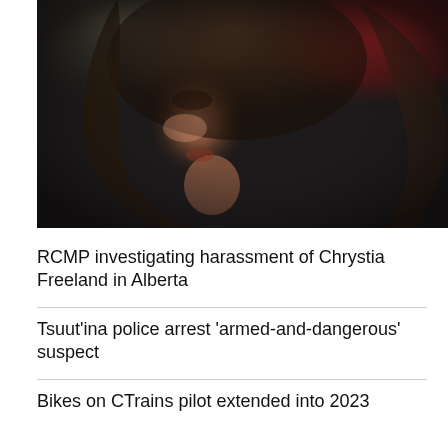[Figure (photo): Close-up portrait of a woman with long brown hair, looking upward to the left, with a dark background and a blurred red element in the upper right corner. Dramatic low-key lighting.]
RCMP investigating harassment of Chrystia Freeland in Alberta
Tsuut'ina police arrest 'armed-and-dangerous' suspect
Bikes on CTrains pilot extended into 2023